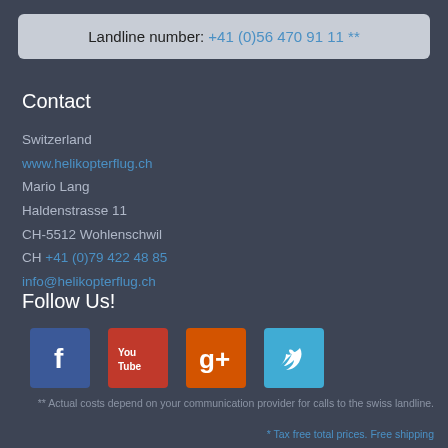Landline number: +41 (0)56 470 91 11 **
Contact
Switzerland
www.helikopterflug.ch
Mario Lang
Haldenstrasse 11
CH-5512 Wohlenschwil
CH +41 (0)79 422 48 85
info@helikopterflug.ch
Follow Us!
[Figure (illustration): Social media icons: Facebook, YouTube, Google+, Twitter]
** Actual costs depend on your communication provider for calls to the swiss landline.
* Tax free total prices. Free shipping